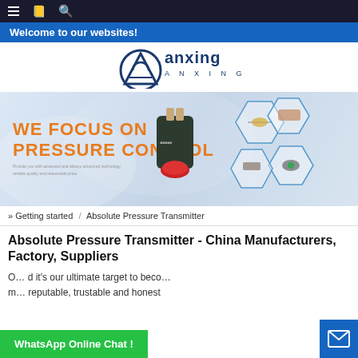≡  📋  🔍
Welcome to our websites!
[Figure (logo): Anxing logo — stylized 'A' triangular emblem with 'anxing' wordmark in dark blue and orange, 'A N X I N G' spaced below]
[Figure (photo): Promotional banner: 'WE FOCUS ON PRESSURE CONTROL' in orange bold text on light grey/blue gradient background. Pressure sensor product (black cylindrical sensor with red tip) and hexagonal product image collage showing various sensor connectors on the right side.]
» Getting started  /  Absolute Pressure Transmitter
Absolute Pressure Transmitter - China Manufacturers, Factory, Suppliers
O... d it's our ultimate target to become a reputable, trustable and honest ...